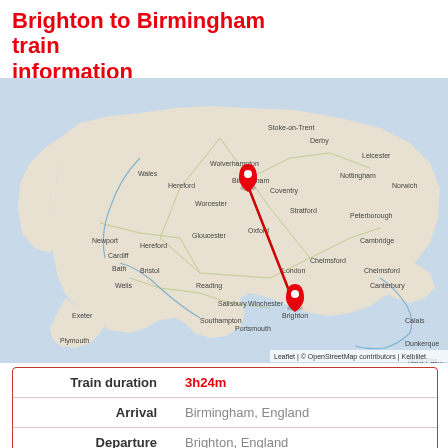Brighton to Birmingham train information
[Figure (map): Map of England showing a red line connecting Birmingham (marked with a red pin in the Midlands) to Brighton (marked with a red pin on the south coast). OpenStreetMap base map with road and place name overlays. Attribution: Leaflet | © OpenStreetMap contributors | Kelbillet]
| Train duration | 3h24m |
| Arrival | Birmingham, England |
| Departure | Brighton, England |